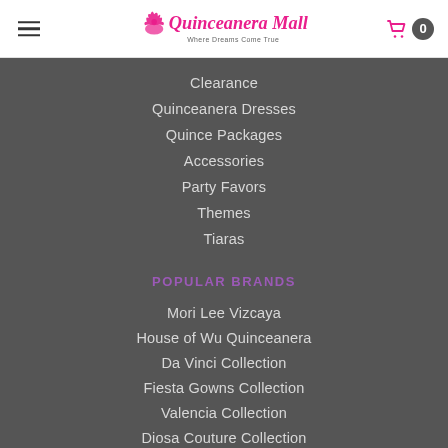Quinceanera Mall — Where Dreams Come True
Clearance
Quinceanera Dresses
Quince Packages
Accessories
Party Favors
Themes
Tiaras
POPULAR BRANDS
Mori Lee Vizcaya
House of Wu Quinceanera
Da Vinci Collection
Fiesta Gowns Collection
Valencia Collection
Diosa Couture Collection
Valentina Collection
Princess by Ariana Vara